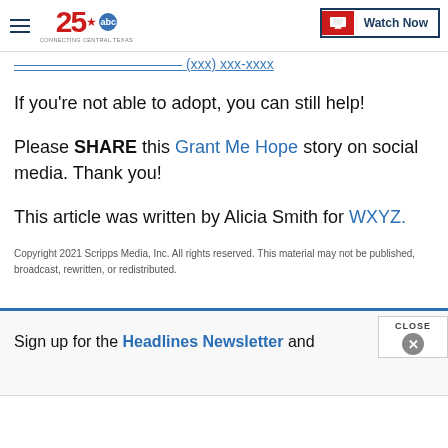25 ABC — Connecting Central Texas | Watch Now
[partial link text cut off] (xxx) xxx-xxxx
If you're not able to adopt, you can still help!
Please SHARE this Grant Me Hope story on social media. Thank you!
This article was written by Alicia Smith for WXYZ.
Copyright 2021 Scripps Media, Inc. All rights reserved. This material may not be published, broadcast, rewritten, or redistributed.
Sign up for the Headlines Newsletter and